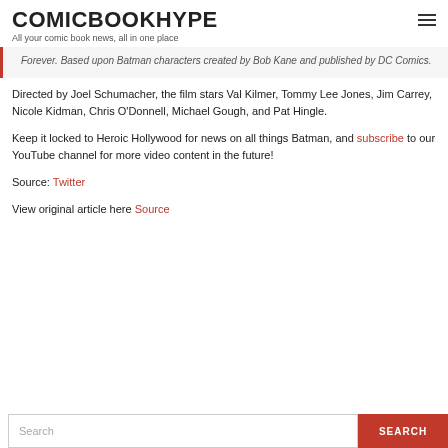COMICBOOKHYPE
All your comic book news, all in one place
Forever. Based upon Batman characters created by Bob Kane and published by DC Comics.
Directed by Joel Schumacher, the film stars Val Kilmer, Tommy Lee Jones, Jim Carrey, Nicole Kidman, Chris O'Donnell, Michael Gough, and Pat Hingle.
Keep it locked to Heroic Hollywood for news on all things Batman, and subscribe to our YouTube channel for more video content in the future!
Source: Twitter
View original article here Source